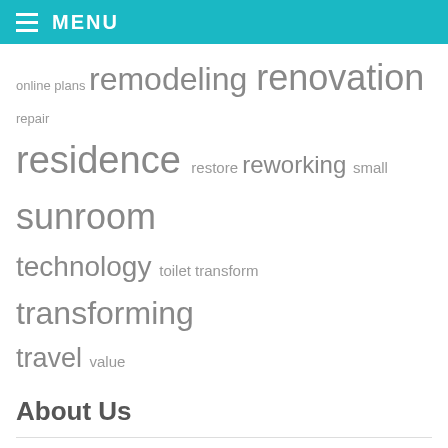MENU
online plans remodeling renovation repair residence restore reworking small sunroom technology toilet transform transforming travel value
About Us
Sitemap
Disclosure Policy
Advertise Here
Contact Us